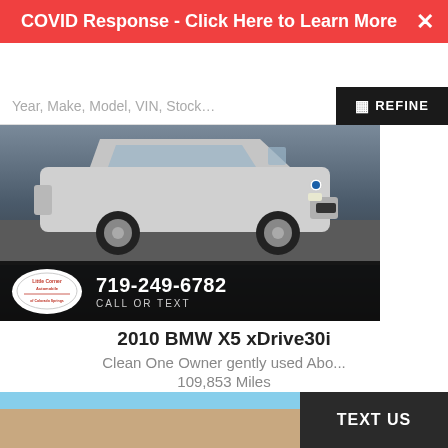COVID Response - Click Here to Learn More
Year, Make, Model, VIN, Stock...
[Figure (photo): 2010 BMW X5 SUV parked in lot, white/silver color, with dealer overlay showing Little Corner Automobile logo and phone number 719-249-6782 CALL OR TEXT]
2010 BMW X5 xDrive30i
Clean One Owner gently used Abo...
109,853 Miles
SOLD
TEXT US